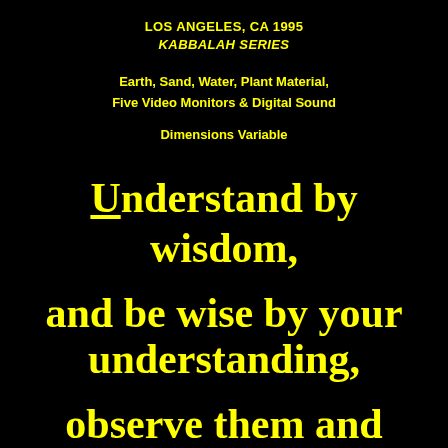LOS ANGELES, CA 1995
KABBALAH SERIES
Earth, Sand, Water, Plant Material,
Five Video Monitors & Digital Sound
Dimensions Variable
Understand by wisdom,

and be wise by your understanding,

observe them and investigate them